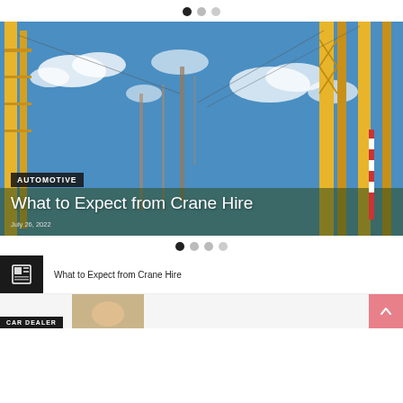[Figure (other): Three pagination dots at top, first one filled/active, two lighter]
[Figure (photo): Hero image of yellow construction cranes against a blue sky with white clouds, overlaid with AUTOMOTIVE category badge, title 'What to Expect from Crane Hire', and date 'July 26, 2022']
AUTOMOTIVE
What to Expect from Crane Hire
July 26, 2022
[Figure (other): Four pagination dots, first one filled/active, three lighter]
What to Expect from Crane Hire
CAR DEALER